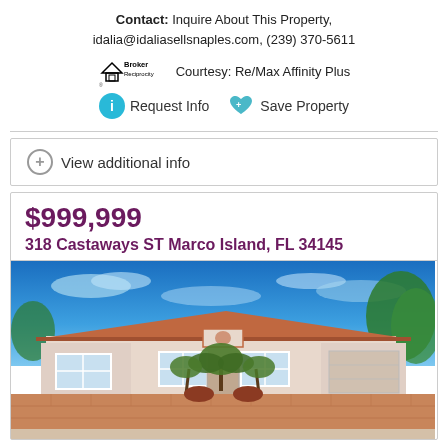Contact: Inquire About This Property, idalia@idaliasellsnaples.com, (239) 370-5611
Courtesy: Re/Max Affinity Plus
Request Info   Save Property
View additional info
$999,999
318 Castaways ST Marco Island, FL 34145
[Figure (photo): Exterior photo of a single-story home at 318 Castaways ST Marco Island, FL 34145. The house has a terracotta tile roof, white/light pink stucco exterior, multiple windows, a garage, and a landscaped front yard with palm trees and tropical plants. The sky is bright blue with light clouds. The driveway/front area is paved brick.]